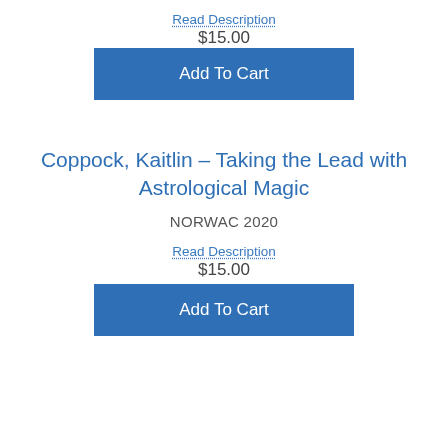Read Description
$15.00
Add To Cart
Coppock, Kaitlin – Taking the Lead with Astrological Magic
NORWAC 2020
Read Description
$15.00
Add To Cart